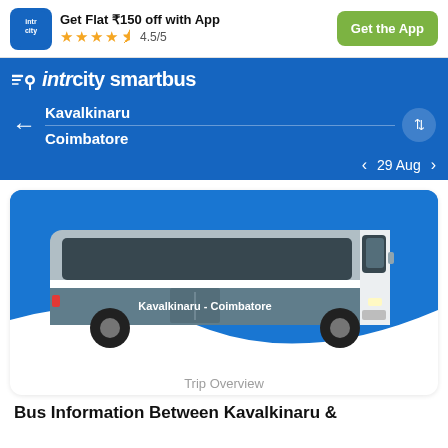Get Flat ₹150 off with App ★★★★½ 4.5/5 | Get the App
intrcity smartbus
Kavalkinaru
Coimbatore
< 29 Aug >
[Figure (illustration): A blue and white SmartBus with text 'Kavalkinaru - Coimbatore' on the side, displayed against a blue background with a white wave curve.]
Trip Overview
Bus Information Between Kavalkinaru &